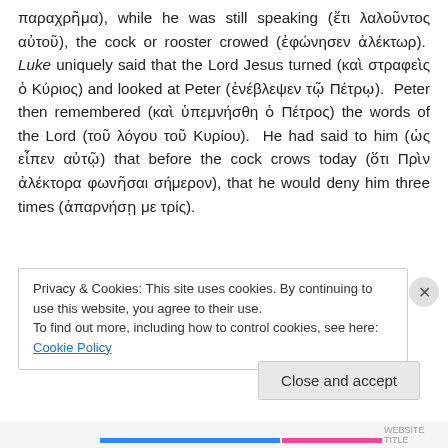παραχρῆμα), while he was still speaking (ἔτι λαλοῦντος αὐτοῦ), the cock or rooster crowed (ἐφώνησεν ἀλέκτωρ). Luke uniquely said that the Lord Jesus turned (καὶ στραφεὶς ὁ Κύριος) and looked at Peter (ἐνέβλεψεν τῷ Πέτρῳ). Peter then remembered (καὶ ὑπεμνήσθη ὁ Πέτρος) the words of the Lord (τοῦ λόγου τοῦ Κυρίου). He had said to him (ὡς εἶπεν αὐτῷ) that before the cock crows today (ὅτι Πρὶν ἀλέκτορα φωνῆσαι σήμερον), that he would deny him three times (ἀπαρνήσῃ με τρίς).
Privacy & Cookies: This site uses cookies. By continuing to use this website, you agree to their use.
To find out more, including how to control cookies, see here: Cookie Policy